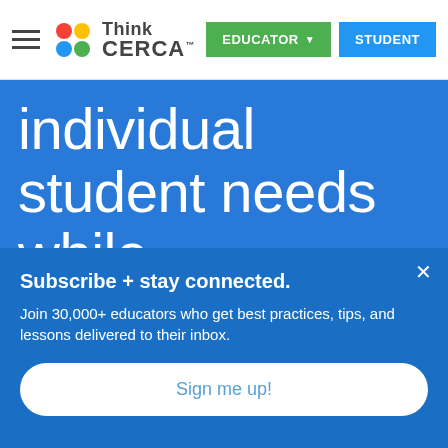Think CERCA — EDUCATOR | STUDENT navigation header
individual student needs while maintaining a uniform conversation at
Subscribe + stay connected.
Join 30,000+ educators who get best practices, tips, and lessons delivered to their inbox.
Sign me up!